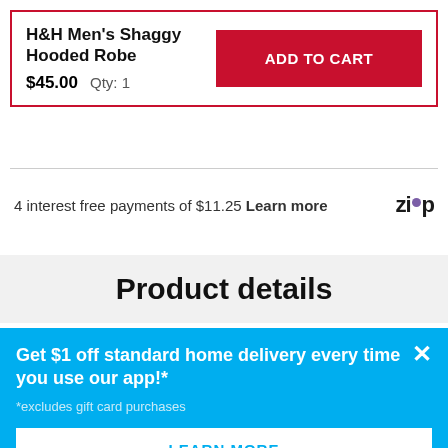H&H Men's Shaggy Hooded Robe
$45.00  Qty: 1
ADD TO CART
4 interest free payments of $11.25 Learn more
[Figure (logo): Zip logo with purple dot between 'zi' and 'p']
Product details
Get $1 off standard home delivery every time you use our app!*
*excludes gift card purchases
LEARN MORE